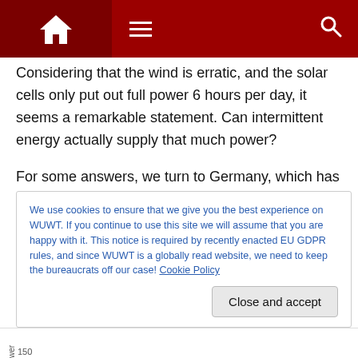Navigation bar with home, menu, and search icons
Considering that the wind is erratic, and the solar cells only put out full power 6 hours per day, it seems a remarkable statement. Can intermittent energy actually supply that much power?
For some answers, we turn to Germany, which has some of the highest electric bills in the world as well as a high proportion of its electric power produced by wind and solar (19%). Let’s take a look at German consumption and
We use cookies to ensure that we give you the best experience on WUWT. If you continue to use this site we will assume that you are happy with it. This notice is required by recently enacted EU GDPR rules, and since WUWT is a globally read website, we need to keep the bureaucrats off our case! Cookie Policy
Close and accept